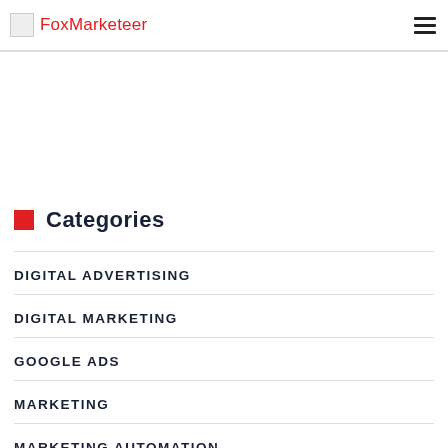FoxMarketeer
Categories
DIGITAL ADVERTISING
DIGITAL MARKETING
GOOGLE ADS
MARKETING
MARKETING AUTOMATION